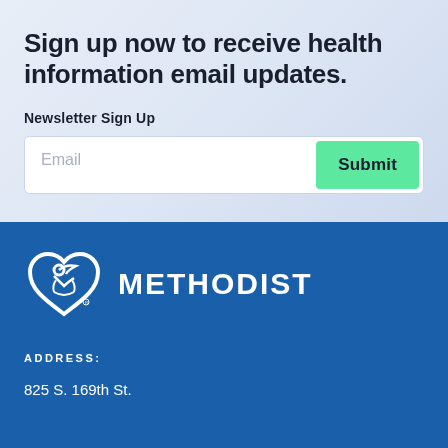Sign up now to receive health information email updates.
Newsletter Sign Up
Email
Submit
[Figure (logo): Methodist Health System logo with heart dove icon in white on blue background, followed by the word METHODIST in bold white letters]
ADDRESS:
825 S. 169th St.